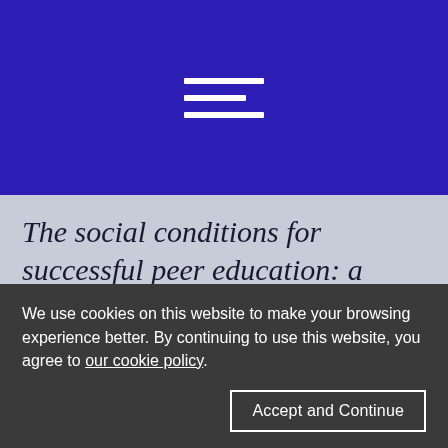[Figure (logo): Hamburger/menu icon with three horizontal white lines on a dark blue background, used as a website navigation logo or header icon]
The social conditions for successful peer education: a comparison of two HIV prevention programs run by sex workers in India and South Africa
We use cookies on this website to make your browsing experience better. By continuing to use this website, you agree to our cookie policy.